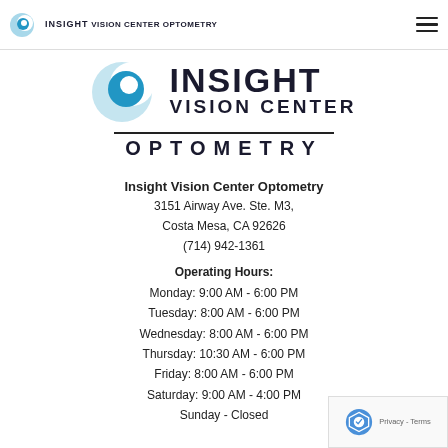Insight Vision Center Optometry
[Figure (logo): Insight Vision Center Optometry large logo with eye graphic, INSIGHT, VISION CENTER, and OPTOMETRY text]
Insight Vision Center Optometry
3151 Airway Ave. Ste. M3,
Costa Mesa, CA 92626
(714) 942-1361
Operating Hours:
Monday: 9:00 AM - 6:00 PM
Tuesday: 8:00 AM - 6:00 PM
Wednesday: 8:00 AM - 6:00 PM
Thursday: 10:30 AM - 6:00 PM
Friday: 8:00 AM - 6:00 PM
Saturday: 9:00 AM - 4:00 PM
Sunday - Closed